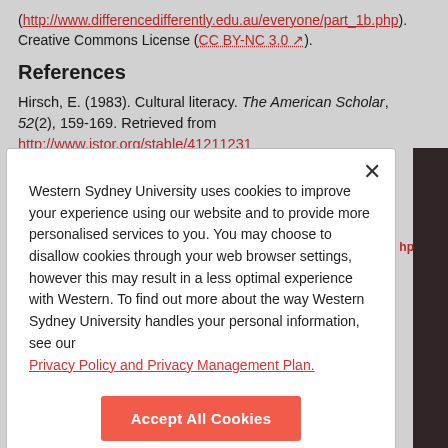(http://www.differencedifferently.edu.au/everyone/part_1b.php). Creative Commons License (CC BY-NC 3.0).
References
Hirsch, E. (1983). Cultural literacy. The American Scholar, 52(2), 159-169. Retrieved from http://www.jstor.org/stable/41211231
Western Sydney University uses cookies to improve your experience using our website and to provide more personalised services to you. You may choose to disallow cookies through your web browser settings, however this may result in a less optimal experience with Western. To find out more about the way Western Sydney University handles your personal information, see our Privacy Policy and Privacy Management Plan.